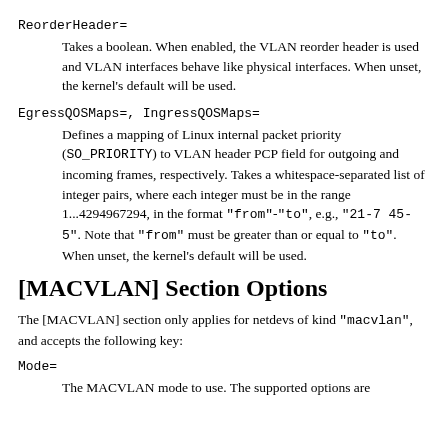ReorderHeader=
Takes a boolean. When enabled, the VLAN reorder header is used and VLAN interfaces behave like physical interfaces. When unset, the kernel's default will be used.
EgressQOSMaps=, IngressQOSMaps=
Defines a mapping of Linux internal packet priority (SO_PRIORITY) to VLAN header PCP field for outgoing and incoming frames, respectively. Takes a whitespace-separated list of integer pairs, where each integer must be in the range 1...4294967294, in the format "from"-"to", e.g., "21-7 45-5". Note that "from" must be greater than or equal to "to". When unset, the kernel's default will be used.
[MACVLAN] Section Options
The [MACVLAN] section only applies for netdevs of kind "macvlan", and accepts the following key:
Mode=
The MACVLAN mode to use. The supported options are